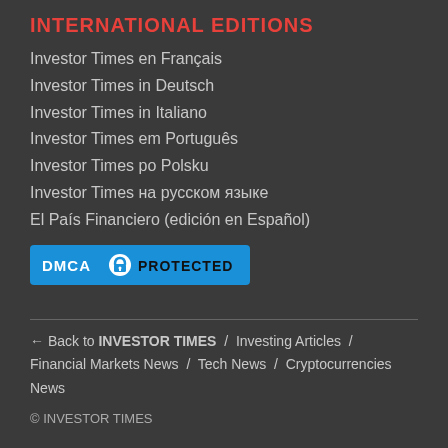INTERNATIONAL EDITIONS
Investor Times en Français
Investor Times in Deutsch
Investor Times in Italiano
Investor Times em Português
Investor Times po Polsku
Investor Times на русском языке
El País Financiero (edición en Español)
[Figure (logo): DMCA Protected badge — blue background with lock icon and text 'DMCA PROTECTED']
← Back to INVESTOR TIMES   /   Investing Articles   /   Financial Markets News   /   Tech News   /   Cryptocurrencies News
© INVESTOR TIMES